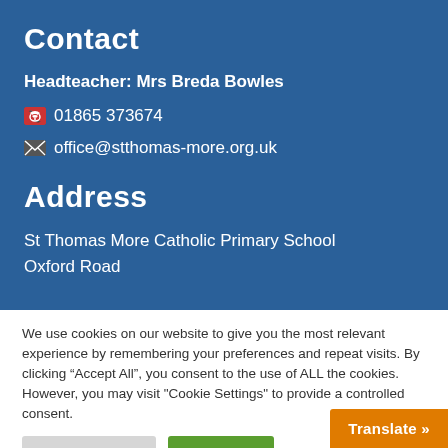Contact
Headteacher: Mrs Breda Bowles
01865 373674
office@stthomas-more.org.uk
Address
St Thomas More Catholic Primary School
Oxford Road
We use cookies on our website to give you the most relevant experience by remembering your preferences and repeat visits. By clicking “Accept All”, you consent to the use of ALL the cookies. However, you may visit "Cookie Settings" to provide a controlled consent.
Cookie Settings
Accept All
Translate »